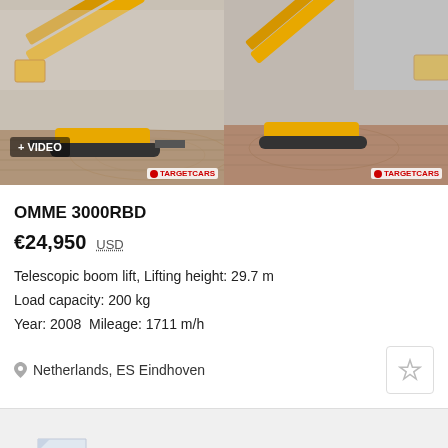[Figure (photo): Two photos of a yellow OMME telescopic boom lift (crawler type) parked on a brick-paved outdoor area. Left photo has a '+ VIDEO' badge and TARGETCARS watermark. Right photo also has TARGETCARS watermark.]
OMME 3000RBD
€24,950  USD
Telescopic boom lift, Lifting height: 29.7 m
Load capacity: 200 kg
Year: 2008  Mileage: 1711 m/h
Netherlands, ES Eindhoven
Subscribe to receive new ads from this section